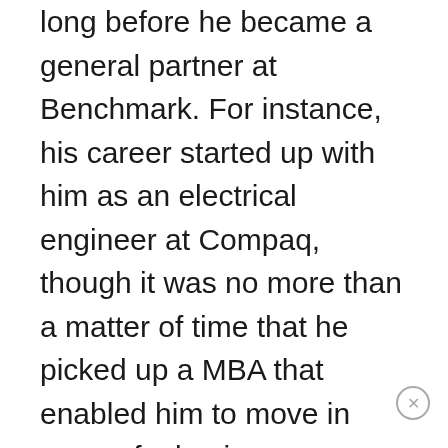long before he became a general partner at Benchmark. For instance, his career started up with him as an electrical engineer at Compaq, though it was no more than a matter of time that he picked up a MBA that enabled him to move in more of a business direction. With that said, each step in Gurley's career has proven to be of use in the next, as shown by how he specialized in computer hardware and software when he made a smooth transition to being an equity research analyst. In time, this led to a